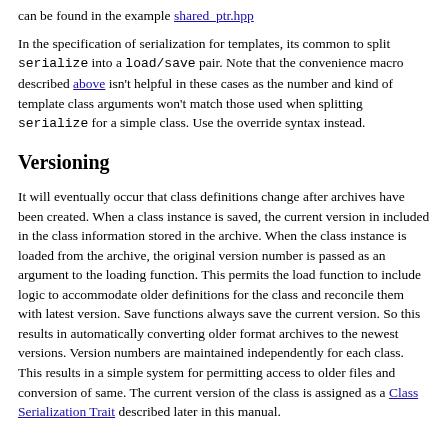can be found in the example shared_ptr.hpp
In the specification of serialization for templates, its common to split serialize into a load/save pair. Note that the convenience macro described above isn't helpful in these cases as the number and kind of template class arguments won't match those used when splitting serialize for a simple class. Use the override syntax instead.
Versioning
It will eventually occur that class definitions change after archives have been created. When a class instance is saved, the current version in included in the class information stored in the archive. When the class instance is loaded from the archive, the original version number is passed as an argument to the loading function. This permits the load function to include logic to accommodate older definitions for the class and reconcile them with latest version. Save functions always save the current version. So this results in automatically converting older format archives to the newest versions. Version numbers are maintained independently for each class. This results in a simple system for permitting access to older files and conversion of same. The current version of the class is assigned as a Class Serialization Trait described later in this manual.